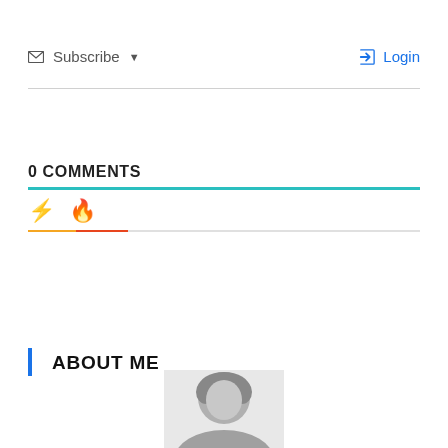✉ Subscribe ▾   ➡ Login
0 COMMENTS
[Figure (infographic): Tab icons: lightning bolt (yellow) and fire (red-orange) with colored underlines indicating active/inactive tabs]
ABOUT ME
[Figure (photo): Black and white photo of a person, partially visible at the bottom of the page]